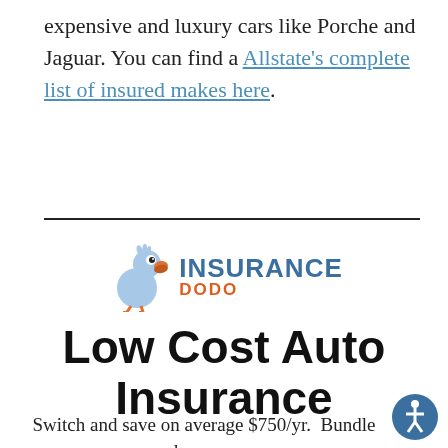expensive and luxury cars like Porche and Jaguar. You can find a Allstate's complete list of insured makes here.
[Figure (logo): Insurance Dodo logo: a cartoon dodo bird with blue and orange text reading INSURANCE DODO]
Low Cost Auto Insurance
Switch and save on average $750/yr.  Bundle and save even